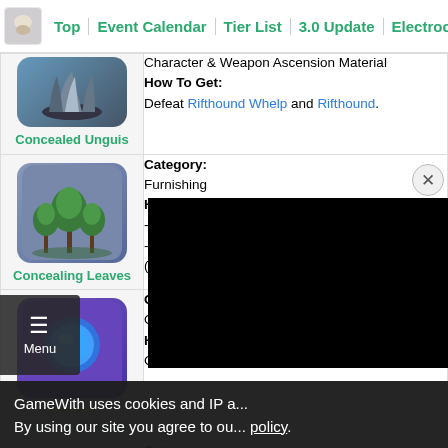Top | Event Calendar | Tier List | 3.0 Update | Electroc
| Item | Info |
| --- | --- |
| Concealed Unguis | Character & Weapon Ascension Material
How To Get:
Defeat Rifthound Whelp and Rifthound. |
| Concealing Leaves | Category:
Furnishing
How To Get:
- Serenitea Pot Round 2 Reward
- Can Buy At the Realm Depot (Housing Shops) (80 Realm Currency) |
| Condensed Resin | Category:
Other
How To Get:
Crafted |
| (partial item) | Category:
Materials |
GameWith uses cookies and IP a... By using our site you agree to ou... policy.